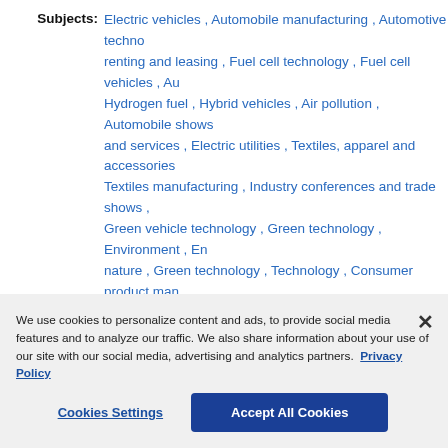Subjects: Electric vehicles , Automobile manufacturing , Automotive technology , renting and leasing , Fuel cell technology , Fuel cell vehicles , Automobiles , Hydrogen fuel , Hybrid vehicles , Air pollution , Automobile shows , Products and services , Electric utilities , Textiles, apparel and accessories , Textiles manufacturing , Industry conferences and trade shows , Automobiles , Green vehicle technology , Green technology , Environment , Environment and nature , Green technology , Technology , Consumer product manufacturing , Consumer products and services , Industries , Business , Industries , Automotive services , Consumer services , Alternative and sustainable energy , Energy and the environment , Fuel cell technology , Energy and utilities , Automobiles , Lifestyle , Air quality , Air pollution , Pollution , Environmental concerns , Products and services , Corporate news , Utilities , Electric energy , Energy industry
Locations: Los Angeles , California , United States , North America
We use cookies to personalize content and ads, to provide social media features and to analyze our traffic. We also share information about your use of our site with our social media, advertising and analytics partners. Privacy Policy
Cookies Settings
Accept All Cookies